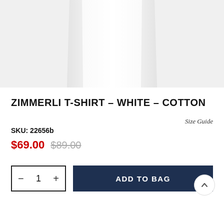[Figure (photo): White t-shirt product image, cropped to show lower torso portion against white/light gray background]
ZIMMERLI T-SHIRT - WHITE - COTTON
Size Guide
SKU: 22656b
$69.00  $89.00
− 1 +
ADD TO BAG